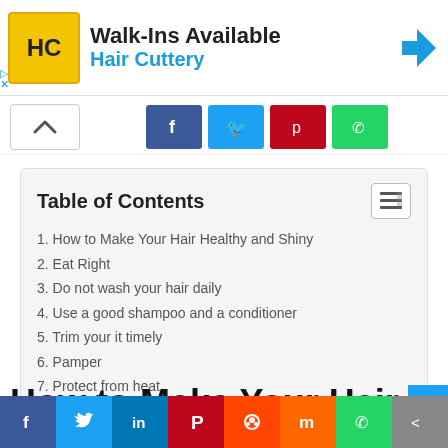[Figure (screenshot): Hair Cuttery advertisement banner with logo, 'Walk-Ins Available' text, and Hair Cuttery name in blue]
[Figure (screenshot): Social share bar with up arrow button and Facebook, Twitter, Pinterest, WhatsApp icons]
| 1. How to Make Your Hair Healthy and Shiny |
| 2. Eat Right |
| 3. Do not wash your hair daily |
| 4. Use a good shampoo and a conditioner |
| 5. Trim your it timely |
| 6. Pamper |
| 7. Protect from heat |
| 8. Some more tips to make your hair healthy and shiny |
How to Make Your Hair Healthy
[Figure (screenshot): Bottom social share bar with Facebook, Twitter, LinkedIn, Pinterest, Reddit, Mix, WhatsApp, and Share icons]